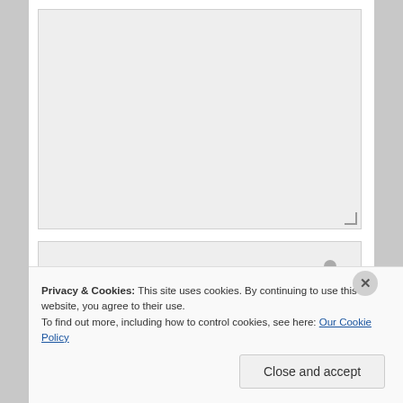[Figure (screenshot): A textarea input field with light gray background and a resize handle in the bottom-right corner]
[Figure (screenshot): A second input field with light gray background containing a user/avatar icon on the right side]
Privacy & Cookies: This site uses cookies. By continuing to use this website, you agree to their use.
To find out more, including how to control cookies, see here: Our Cookie Policy
Close and accept